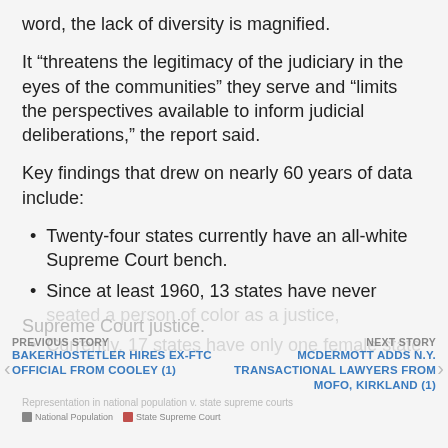word, the lack of diversity is magnified.
It “threatens the legitimacy of the judiciary in the eyes of the communities” they serve and “limits the perspectives available to inform judicial deliberations,” the report said.
Key findings that drew on nearly 60 years of data include:
Twenty-four states currently have an all-white Supreme Court bench.
Since at least 1960, 13 states have never seated a person of color as a justice,
Currently, 17 states have only one female state Supreme Court justice.
PREVIOUS STORY
BAKERHOSTETLER HIRES EX-FTC OFFICIAL FROM COOLEY (1)
NEXT STORY
MCDERMOTT ADDS N.Y. TRANSACTIONAL LAWYERS FROM MOFO, KIRKLAND (1)